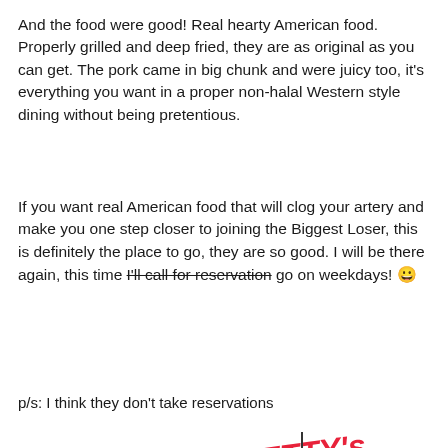And the food were good! Real hearty American food. Properly grilled and deep fried, they are as original as you can get. The pork came in big chunk and were juicy too, it's everything you want in a proper non-halal Western style dining without being pretentious.
If you want real American food that will clog your artery and make you one step closer to joining the Biggest Loser, this is definitely the place to go, they are so good. I will be there again, this time [strikethrough: I'll call for reservation] go on weekdays! 😀
p/s: I think they don't take reservations
[Figure (map): Hand-drawn map showing BETTY's restaurant location near NKVE highway, dataran prima, Aman Suria, and nkve damansara toll. Red arrow pointing to Betty's location. Pink rectangle for dataran prima, green dashed curve for Aman Suria area.]